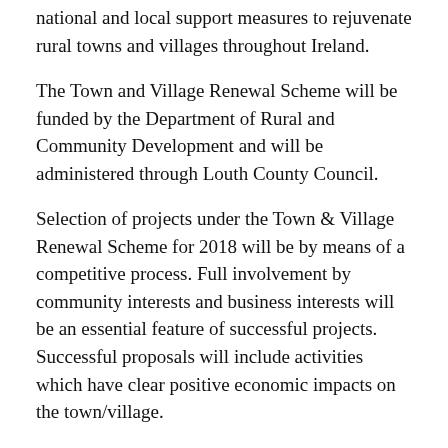national and local support measures to rejuvenate rural towns and villages throughout Ireland.
The Town and Village Renewal Scheme will be funded by the Department of Rural and Community Development and will be administered through Louth County Council.
Selection of projects under the Town & Village Renewal Scheme for 2018 will be by means of a competitive process. Full involvement by community interests and business interests will be an essential feature of successful projects. Successful proposals will include activities which have clear positive economic impacts on the town/village.
Full details of the scheme are available here or on request by email to Barry.Eaton@louthcoco.ie The Council wish to receive Expressions of Interest (EOI's) which are available to download here.
Louth County Council will be hosting an information session for all interested groups in the Market House,